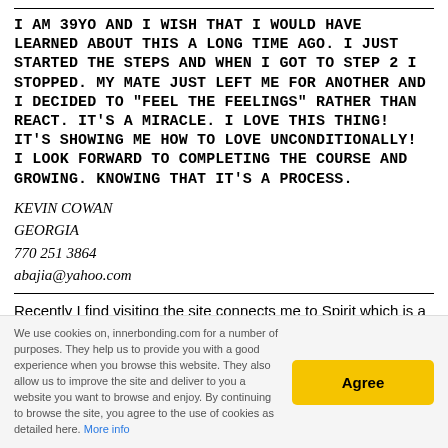I AM 39YO AND I WISH THAT I WOULD HAVE LEARNED ABOUT THIS A LONG TIME AGO. I JUST STARTED THE STEPS AND WHEN I GOT TO STEP 2 I STOPPED. MY MATE JUST LEFT ME FOR ANOTHER AND I DECIDED TO "FEEL THE FEELINGS" RATHER THAN REACT. IT'S A MIRACLE. I LOVE THIS THING! IT'S SHOWING ME HOW TO LOVE UNCONDITIONALLY! I LOOK FORWARD TO COMPLETING THE COURSE AND GROWING. KNOWING THAT IT'S A PROCESS.
KEVIN COWAN
GEORGIA
770 251 3864
abajia@yahoo.com
Recently I find visiting the site connects me to Spirit which is a wonderful support to my practice - as well of course as just feeling wonderful! Perhaps a cyberspace version of the joy of IB-
We use cookies on, innerbonding.com for a number of purposes. They help us to provide you with a good experience when you browse this website. They also allow us to improve the site and deliver to you a website you want to browse and enjoy. By continuing to browse the site, you agree to the use of cookies as detailed here. More info